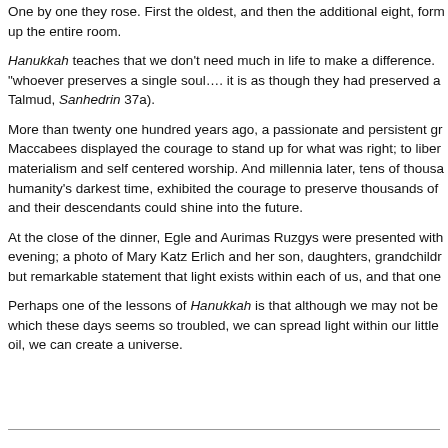One by one they rose. First the oldest, and then the additional eight, form up the entire room.
Hanukkah teaches that we don't need much in life to make a difference. "whoever preserves a single soul…. it is as though they had preserved a Talmud, Sanhedrin 37a).
More than twenty one hundred years ago, a passionate and persistent gr Maccabees displayed the courage to stand up for what was right; to liber materialism and self centered worship. And millennia later, tens of thousa humanity's darkest time, exhibited the courage to preserve thousands of and their descendants could shine into the future.
At the close of the dinner, Egle and Aurimas Ruzgys were presented with evening; a photo of Mary Katz Erlich and her son, daughters, grandchildr but remarkable statement that light exists within each of us, and that one
Perhaps one of the lessons of Hanukkah is that although we may not be which these days seems so troubled, we can spread light within our little oil, we can create a universe.